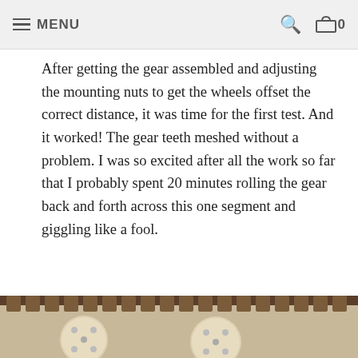MENU
After getting the gear assembled and adjusting the mounting nuts to get the wheels offset the correct distance, it was time for the first test. And it worked! The gear teeth meshed without a problem. I was so excited after all the work so far that I probably spent 20 minutes rolling the gear back and forth across this one segment and giggling like a fool.
[Figure (photo): Close-up photo of wooden gear wheels with metal bolts/nuts assembled on top of large gear teeth cut from wood, viewed from above on a workbench surface.]